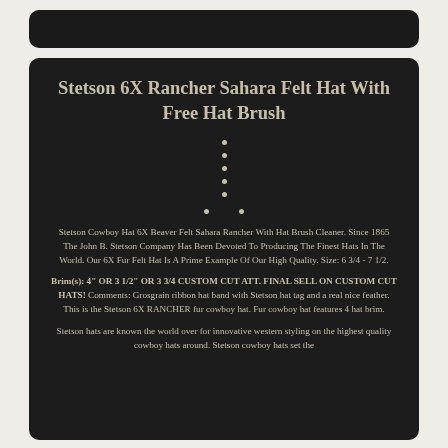[Figure (other): Dark rounded rectangle navigation/header bar]
Stetson 6X Rancher Sahara Felt Hat With Free Hat Brush
bullet point 1
bullet point 2
bullet point 3
bullet point 4
bullet point 5
bullet point row 1
bullet point row 2
Stetson Cowboy Hat 6X Beaver Felt Sahara Rancher With Hat Brush Cleaner. Since 1865 The John B. Stetson Company Has Been Devoted To Producing The Finest Hats In The World. Our 6X Fur Felt Hat Is A Prime Example Of Our High Quality. Size: 6 3/4 - 7 1/2.
Brim(s): 4" OR 3 1/2" OR 3 3/4 CUSTOM CUT ATT. FINAL SELL ON CUSTOM CUT HATS! Comments: Grosgrain ribbon hat band with Stetson hat tag and a real nice feather. This is the Stetson 6X RANCHER fur cowboy hat. Fur cowboy hat features 4 hat brim.
Stetson hats are known the world over for innovative western styling on the highest quality cowboy hats around. Stetson cowboy hats set the